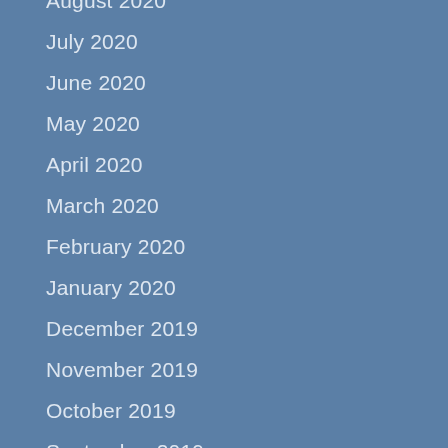August 2020
July 2020
June 2020
May 2020
April 2020
March 2020
February 2020
January 2020
December 2019
November 2019
October 2019
September 2019
August 2019
July 2019
June 2019
May 2019